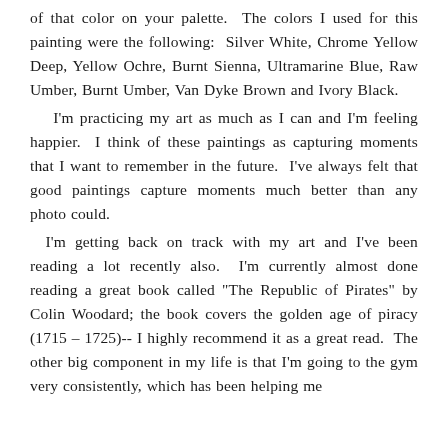of that color on your palette.  The colors I used for this painting were the following:  Silver White, Chrome Yellow Deep, Yellow Ochre, Burnt Sienna, Ultramarine Blue, Raw Umber, Burnt Umber, Van Dyke Brown and Ivory Black.
I'm practicing my art as much as I can and I'm feeling happier.  I think of these paintings as capturing moments that I want to remember in the future.  I've always felt that good paintings capture moments much better than any photo could.
I'm getting back on track with my art and I've been reading a lot recently also.  I'm currently almost done reading a great book called "The Republic of Pirates" by Colin Woodard; the book covers the golden age of piracy (1715 – 1725)-- I highly recommend it as a great read.  The other big component in my life is that I'm going to the gym very consistently, which has been helping me